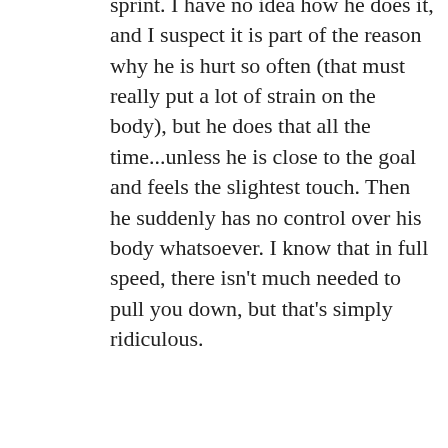sprint. I have no idea how he does it, and I suspect it is part of the reason why he is hurt so often (that must really put a lot of strain on the body), but he does that all the time...unless he is close to the goal and feels the slightest touch. Then he suddenly has no control over his body whatsoever. I know that in full speed, there isn't much needed to pull you down, but that's simply ridiculous.
★ Like
Reply
[Figure (other): Advertisement banner: dark navy background with circular white icon showing a person/tree logo, teal text 'Launch your online course with WordPress', and a white-bordered 'Learn More' button. Above it is a thick black divider bar and 'Advertisements' label.]